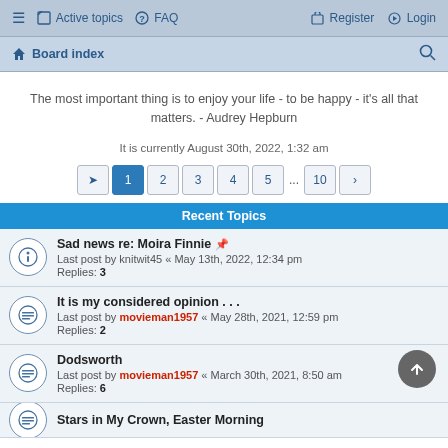≡  Active topics  ? FAQ    Register  Login
🏠 Board index  🔍
The most important thing is to enjoy your life - to be happy - it's all that matters. - Audrey Hepburn
It is currently August 30th, 2022, 1:32 am
Pagination: ➡ 1 2 3 4 5 ... 10 >
Recent Topics
Sad news re: Moira Finnie 📎
Last post by knitwit45 « May 13th, 2022, 12:34 pm
Replies: 3
It is my considered opinion . . .
Last post by movieman1957 « May 28th, 2021, 12:59 pm
Replies: 2
Dodsworth
Last post by movieman1957 « March 30th, 2021, 8:50 am
Replies: 6
Stars in My Crown, Easter Morning